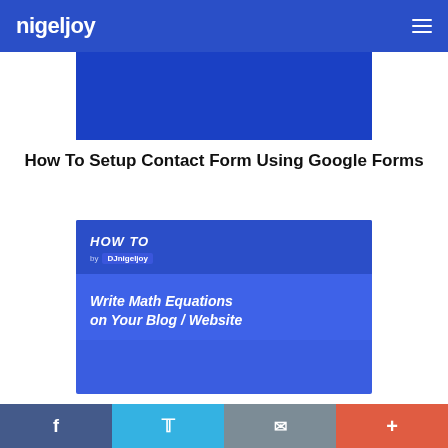nigeljoy
[Figure (screenshot): Blue banner image strip at top of content area]
How To Setup Contact Form Using Google Forms
[Figure (illustration): HOW TO card image with text 'Write Math Equations on Your Blog / Website' by DJnigeljoy on blue gradient background]
How To Write Math Equations in your Blog
f  Twitter  Email  +